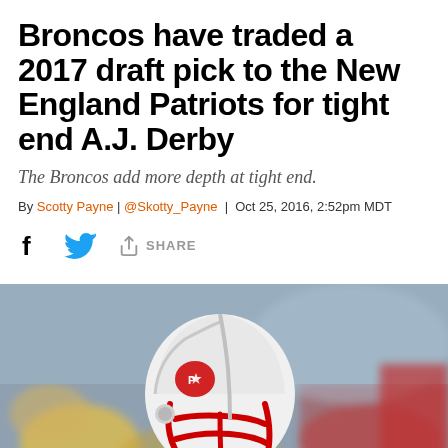Broncos have traded a 2017 draft pick to the New England Patriots for tight end A.J. Derby
The Broncos add more depth at tight end.
By Scotty Payne | @Skotty_Payne | Oct 25, 2016, 2:52pm MDT
[Figure (photo): A New England Patriots player wearing a white helmet with the Patriots logo and a red face mask, photographed during a game with a blurred crowd background]